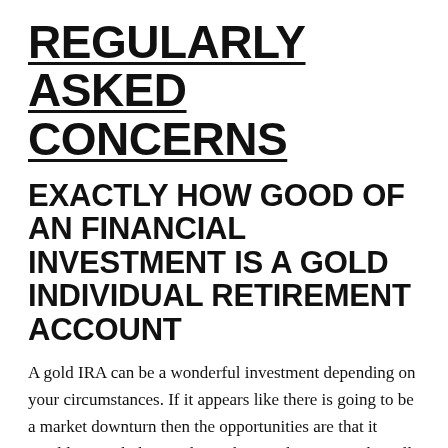REGULARLY ASKED CONCERNS
EXACTLY HOW GOOD OF AN FINANCIAL INVESTMENT IS A GOLD INDIVIDUAL RETIREMENT ACCOUNT
A gold IRA can be a wonderful investment depending on your circumstances. If it appears like there is going to be a market downturn then the opportunities are that it would certainly be worth purchasing these as stocks will certainly decline as these will certainly get worth. If there are indicators of inflation than there is